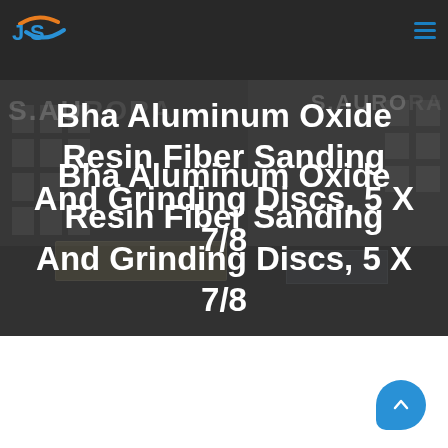[Figure (photo): Hero banner with a dark-tinted photograph of an industrial building (S.AURORA factory). A navigation bar with a JS logo and hamburger menu is overlaid at the top. White large heading text is centered over the image reading 'Bha Aluminum Oxide Resin Fiber Sanding And Grinding Discs, 5 X 7/8'.]
Bha Aluminum Oxide Resin Fiber Sanding And Grinding Discs, 5 X 7/8